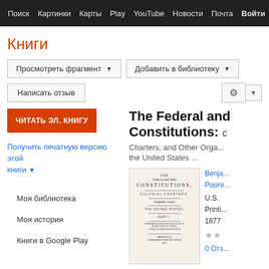Поиск  Картинки  Карты  Play  YouTube  Новости  Почта  Войти  Вход  Ещё
Книги
Просмотреть фрагмент ▼   Добавить в библиотеку ▼
Написать отзыв   ⚙ ▼
ЧИТАТЬ ЭЛ. КНИГУ
The Federal and State Constitutions: Colonial Charters, and Other Organic Laws of the United States ...
Получить печатную версию этой книги ▼
Benja... Poore...
U.S. Printing 1877
★★
0 Отз...
Моя библиотека
Моя история
Книги в Google Play